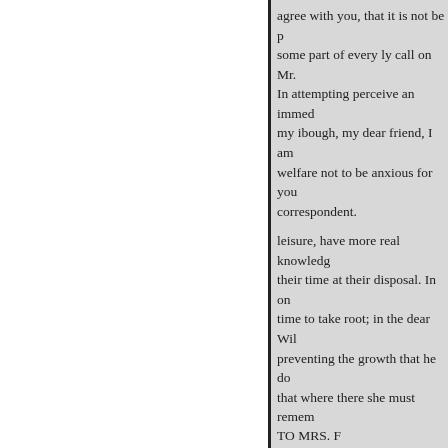agree with you, that it is not be p some part of every ly call on Mr. In attempting perceive an immed my ibough, my dear friend, I am welfare not to be anxious for you correspondent.
leisure, have more real knowledg their time at their disposal. In on time to take root; in the dear Wil preventing the growth that he do that where there she must remem the least fruitfore they began to s discriminate have often abundan overburby speaking much to the baptism. May all 0, when shall I fulfilled. in the service of God? R
TO MISS H
TO MRS. F